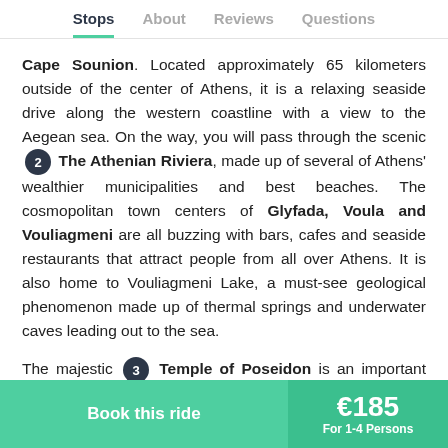Stops | About | Reviews | Questions
Cape Sounion. Located approximately 65 kilometers outside of the center of Athens, it is a relaxing seaside drive along the western coastline with a view to the Aegean sea. On the way, you will pass through the scenic [2] The Athenian Riviera, made up of several of Athens' wealthier municipalities and best beaches. The cosmopolitan town centers of Glyfada, Voula and Vouliagmeni are all buzzing with bars, cafes and seaside restaurants that attract people from all over Athens. It is also home to Vouliagmeni Lake, a must-see geological phenomenon made up of thermal springs and underwater caves leading out to the sea.
The majestic [3] Temple of Poseidon is an important landmark and holds significant historical and cultural value for
Book this ride | €185 | For 1-4 Persons